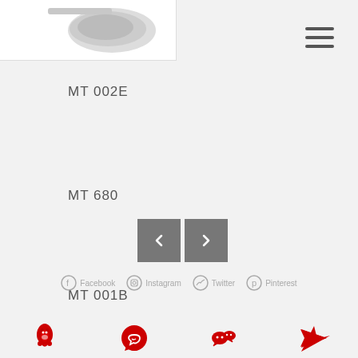[Figure (photo): Partial view of a product (appears to be a watch or device) on white background, top-left area]
[Figure (other): Hamburger/menu icon (three horizontal lines) in top-right corner]
MT 002E
MT 680
MT 001B
[Figure (other): Previous and Next navigation arrow buttons (gray boxes with chevron arrows)]
[Figure (other): Gray social media icons row: Facebook, Instagram, Twitter, Pinterest]
[Figure (other): Red social media icons row at bottom: QQ, WhatsApp, WeChat, another icon]